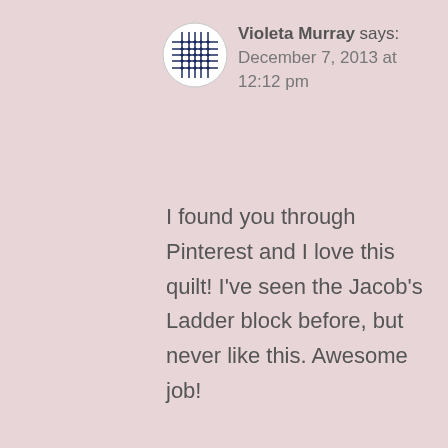[Figure (illustration): User avatar: circular icon with dark blue geometric pattern (snowflake/diamond lattice design)]
Violeta Murray says:
December 7, 2013 at 12:12 pm
I found you through Pinterest and I love this quilt! I've seen the Jacob's Ladder block before, but never like this. Awesome job!
★ Like
Reply
Advertisements